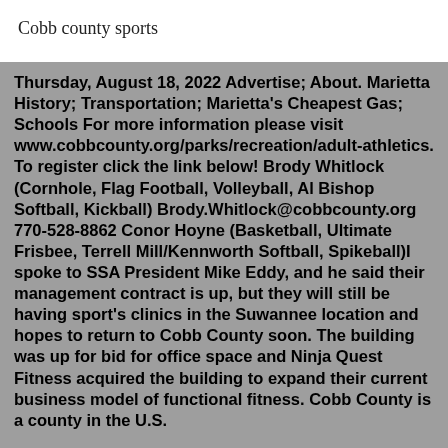Cobb county sports
Thursday, August 18, 2022 Advertise; About. Marietta History; Transportation; Marietta's Cheapest Gas; Schools For more information please visit www.cobbcounty.org/parks/recreation/adult-athletics. To register click the link below! Brody Whitlock (Cornhole, Flag Football, Volleyball, Al Bishop Softball, Kickball) Brody.Whitlock@cobbcounty.org 770-528-8862 Conor Hoyne (Basketball, Ultimate Frisbee, Terrell Mill/Kennworth Softball, Spikeball)I spoke to SSA President Mike Eddy, and he said their management contract is up, but they will still be having sport’s clinics in the Suwannee location and hopes to return to Cobb County soon. The building was up for bid for office space and Ninja Quest Fitness acquired the building to expand their current business model of functional fitness. Cobb County is a county in the U.S.